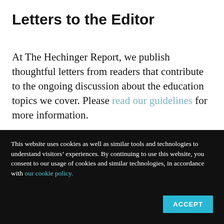Letters to the Editor
At The Hechinger Report, we publish thoughtful letters from readers that contribute to the ongoing discussion about the education topics we cover. Please read our guidelines for more information.
By submitting your name, you grant us permission to publish it with your letter. We will
This website uses cookies as well as similar tools and technologies to understand visitors’ experiences. By continuing to use this website, you consent to our usage of cookies and similar technologies, in accordance with our cookie policy.